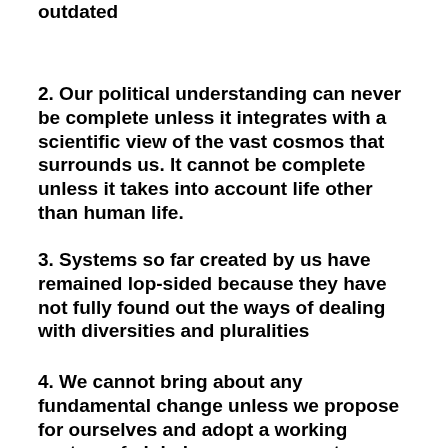outdated
2. Our political understanding can never be complete unless it integrates with a scientific view of the vast cosmos that surrounds us. It cannot be complete unless it takes into account life other than human life.
3. Systems so far created by us have remained lop-sided because they have not fully found out the ways of dealing with diversities and pluralities
4. We cannot bring about any fundamental change unless we propose for ourselves and adopt a working system of global governance, not as a community of nations but as a community of peoples, communities and